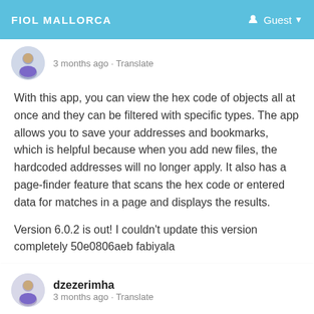FIOL MALLORCA  Guest
3 months ago · Translate
With this app, you can view the hex code of objects all at once and they can be filtered with specific types. The app allows you to save your addresses and bookmarks, which is helpful because when you add new files, the hardcoded addresses will no longer apply. It also has a page-finder feature that scans the hex code or entered data for matches in a page and displays the results.
Version 6.0.2 is out! I couldn't update this version completely 50e0806aeb fabiyala
Read more
Please log in to like, wonder, share and comment!
dzezerimha
3 months ago · Translate